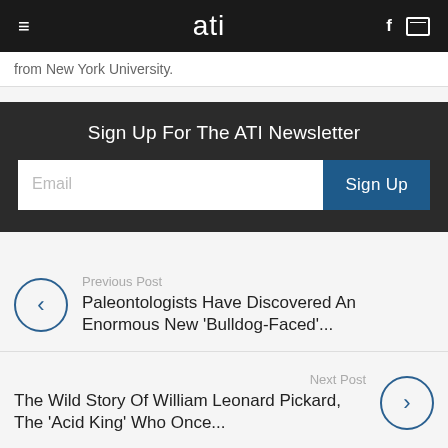ati
from New York University.
Sign Up For The ATI Newsletter
Email
Sign Up
Previous Post
Paleontologists Have Discovered An Enormous New 'Bulldog-Faced'...
Next Post
The Wild Story Of William Leonard Pickard, The 'Acid King' Who Once...